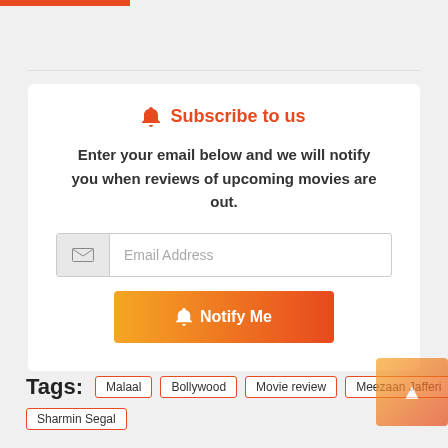🔔 Subscribe to us
Enter your email below and we will notify you when reviews of upcoming movies are out.
Email Address
🔔 Notify Me
Tags: Malaal Bollywood Movie review Meezaan Jafferi Sharmin Segal